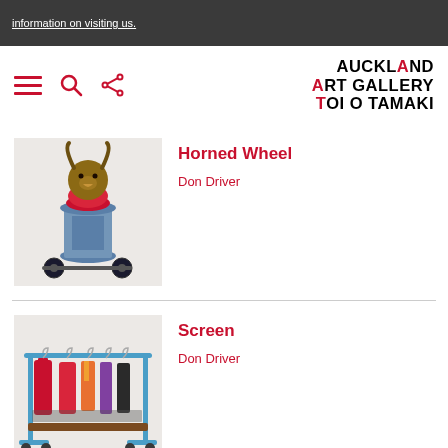information on visiting us.
[Figure (logo): Auckland Art Gallery Toi o Tamaki logo with navigation icons (hamburger menu, search, share)]
[Figure (photo): Artwork photo: Horned Wheel by Don Driver — a sculptural assemblage with animal horns, red dome, spool, and wheels on a cart]
Horned Wheel
Don Driver
[Figure (photo): Artwork photo: Screen by Don Driver — a clothing rack on wheels holding colourful garments including red coats]
Screen
Don Driver